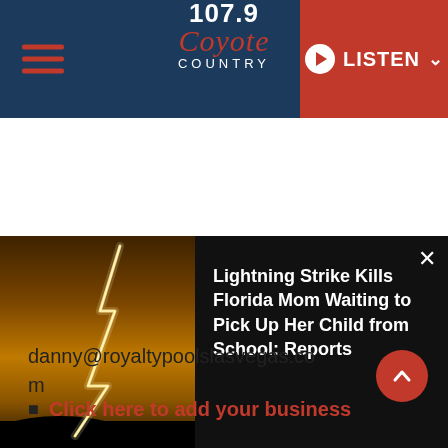107.9 Coyote Country — LISTEN
[Figure (screenshot): News banner showing a lightning strike photo on the left with dark orange sky, and article text on the right on black background. A close (×) button is visible top right of the text panel.]
Lightning Strike Kills Florida Mom Waiting to Pick Up Her Child from School: Reports
danny@royaltypoolslasvegas.com
Click here to add your business